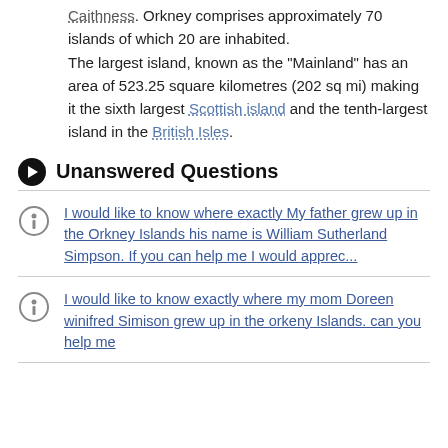Caithness. Orkney comprises approximately 70 islands of which 20 are inhabited. The largest island, known as the "Mainland" has an area of 523.25 square kilometres (202 sq mi) making it the sixth largest Scottish island and the tenth-largest island in the British Isles.
Unanswered Questions
I would like to know where exactly My father grew up in the Orkney Islands his name is William Sutherland Simpson. If you can help me I would apprec...
I would like to know exactly where my mom Doreen winifred Simison grew up in the orkeny Islands. can you help me